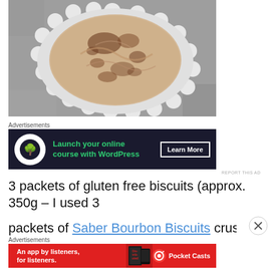[Figure (photo): Overhead view of a round frosted cake with chocolate swirls on top, sitting on a white scalloped plate on a gray concrete surface.]
Advertisements
[Figure (infographic): Dark advertisement banner: 'Launch your online course with WordPress' with a Learn More button.]
REPORT THIS AD
3 packets of gluten free biscuits (approx. 350g – I used 3
packets of Saber Bourbon Biscuits crushed – gave some
Advertisements
[Figure (infographic): Red Pocket Casts advertisement banner: 'An app by listeners, for listeners.' with Distributed book image and Pocket Casts logo.]